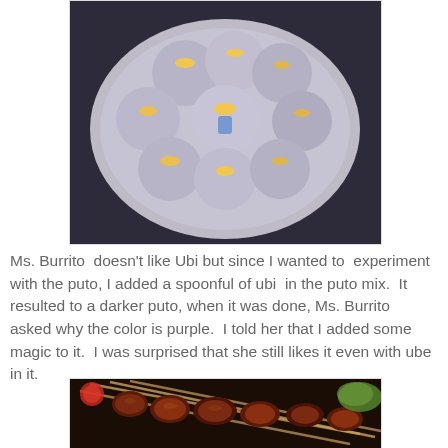[Figure (photo): A plate of puto (Filipino rice cakes) with yellow/orange filling on top, arranged in a circle on a decorative plate, viewed from above.]
Ms. Burrito  doesn't like Ubi but since I wanted to  experiment with the puto, I added a spoonful of ubi  in the puto mix.  It resulted to a darker puto, when it was done, Ms. Burrito  asked why the color is purple.  I told her that I added some magic to it.  I was surprised that she still likes it even with ube in it.
[Figure (photo): Grilled meat skewers (Filipino barbecue) on sticks, with char marks, placed on a grill or tray.]